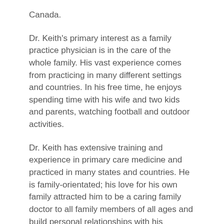Canada.
Dr. Keith's primary interest as a family practice physician is in the care of the whole family. His vast experience comes from practicing in many different settings and countries. In his free time, he enjoys spending time with his wife and two kids and parents, watching football and outdoor activities.
Dr. Keith has extensive training and experience in primary care medicine and practiced in many states and countries. He is family-orientated; his love for his own family attracted him to be a caring family doctor to all family members of all ages and build personal relationships with his patients.
Emphasizes the treatment of the total patient, both physical and mental health.